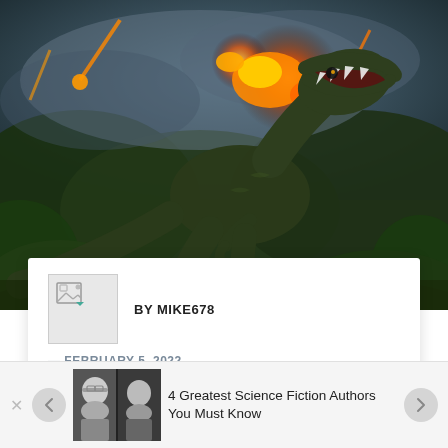[Figure (photo): A large dinosaur (T-Rex) running with mouth open against a dramatic background of explosions, fire, and volcanic eruptions in a jungle setting — movie still from a Jurassic Park/World type film.]
BY MIKE678
— FEBRUARY 5, 2022
— MOVIES & ENTERTAINMENT/SCI FI LITERATURE
[Figure (photo): Small thumbnail image showing two science fiction authors (older men in black and white photo).]
4 Greatest Science Fiction Authors You Must Know